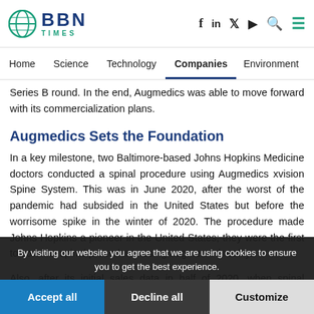BBN TIMES — navigation: Home, Science, Technology, Companies, Environment
Series B round. In the end, Augmedics was able to move forward with its commercialization plans.
Augmedics Sets the Foundation
In a key milestone, two Baltimore-based Johns Hopkins Medicine doctors conducted a spinal procedure using Augmedics xvision Spine System. This was in June 2020, after the worst of the pandemic had subsided in the United States but before the worrisome spike in the winter of 2020. The procedure made Johns Hopkins a pioneer in the United States; they were the first to conduct spinal procedures using augmented reality.
Also, after its initial sales data in half of 2020, when spinal procedures doubled, Augmedic's revenue took off. Sales quickly climbed to millions of
By visiting our website you agree that we are using cookies to ensure you to get the best experience.
Accept all | Decline all | Customize